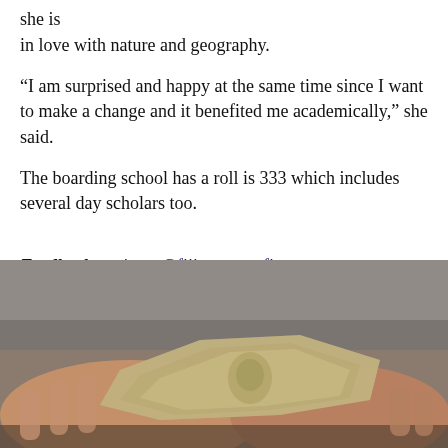she is
in love with nature and geography.
“I am surprised and happy at the same time since I want to make a change and it benefited me academically,” she said.
The boarding school has a roll is 333 which includes several day scholars too.
Feedback: waisean@fijisun.com.fj
You May Like
Sponsored Links by Taboola
[Figure (photo): Hands holding a fan of US $100 dollar bills]